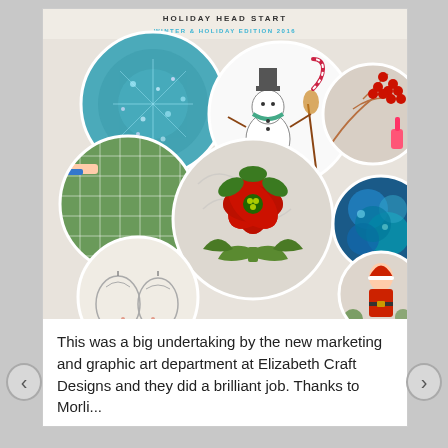[Figure (photo): Holiday Head Start Winter & Holiday Edition 2016 magazine/catalog cover collage featuring circular craft images: teal snowflake wreath, snowman stamps, red berries branch, green plaid fabric, painted snowman cards, poinsettia with green bow, ornament drawings, blue alcohol ink art, and Santa figure.]
This was a big undertaking by the new marketing and graphic art department at Elizabeth Craft Designs and they did a brilliant job. Thanks to Morli...